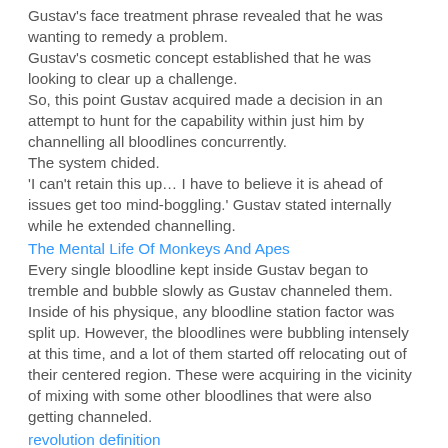Gustav's face treatment phrase revealed that he was wanting to remedy a problem. Gustav's cosmetic concept established that he was looking to clear up a challenge. So, this point Gustav acquired made a decision in an attempt to hunt for the capability within just him by channelling all bloodlines concurrently. The system chided. 'I can't retain this up… I have to believe it is ahead of issues get too mind-boggling.' Gustav stated internally while he extended channelling.
The Mental Life Of Monkeys And Apes
Every single bloodline kept inside Gustav began to tremble and bubble slowly as Gustav channeled them. Inside of his physique, any bloodline station factor was split up. However, the bloodlines were bubbling intensely at this time, and a lot of them started off relocating out of their centered region. These were acquiring in the vicinity of mixing with some other bloodlines that were also getting channeled.
revolution definition
Even so, Gustav possessed no selection but to attempt it this point simply because it was required. He might end up exploding in to a bloody clutter or lose regulate and turn into a mixedbreed that could hold the combination of all his ancestries. Whether or not he